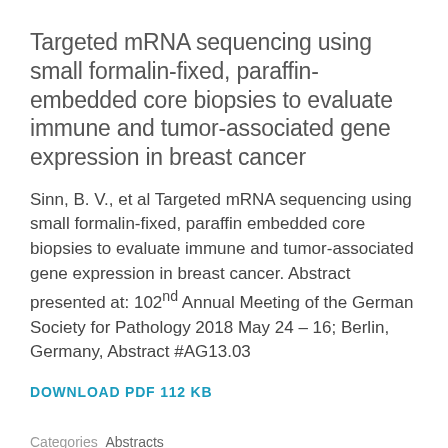Targeted mRNA sequencing using small formalin-fixed, paraffin-embedded core biopsies to evaluate immune and tumor-associated gene expression in breast cancer
Sinn, B. V., et al Targeted mRNA sequencing using small formalin-fixed, paraffin embedded core biopsies to evaluate immune and tumor-associated gene expression in breast cancer. Abstract presented at: 102nd Annual Meeting of the German Society for Pathology 2018 May 24 – 16; Berlin, Germany, Abstract #AG13.03
DOWNLOAD PDF 112 KB
Categories  Abstracts